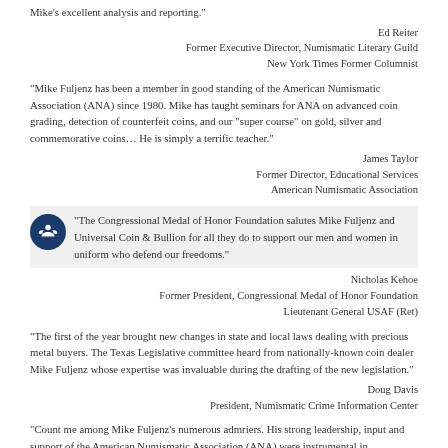Mike’s excellent analysis and reporting.”
Ed Reiter
Former Executive Director, Numismatic Literary Guild
New York Times Former Columnist
“Mike Fuljenz has been a member in good standing of the American Numismatic Association (ANA) since 1980. Mike has taught seminars for ANA on advanced coin grading, detection of counterfeit coins, and our “super course” on gold, silver and commemorative coins… He is simply a terrific teacher.”
James Taylor
Former Director, Educational Services
American Numismatic Association
“The Congressional Medal of Honor Foundation salutes Mike Fuljenz and Universal Coin & Bullion for all they do to support our men and women in uniform who defend our freedoms.”
Nicholas Kehoe
Former President, Congressional Medal of Honor Foundation
Lieutenant General USAF (Ret)
“The first of the year brought new changes in state and local laws dealing with precious metal buyers. The Texas Legislative committee heard from nationally-known coin dealer Mike Fuljenz whose expertise was invaluable during the drafting of the new legislation.”
Doug Davis
President, Numismatic Crime Information Center
“Count me among Mike Fuljenz’s numerous admirers. His strong leadership, input and support of the American Numismatic Association (ANA) were instrumental in formulating ANA’s coin grading and authentication policies,